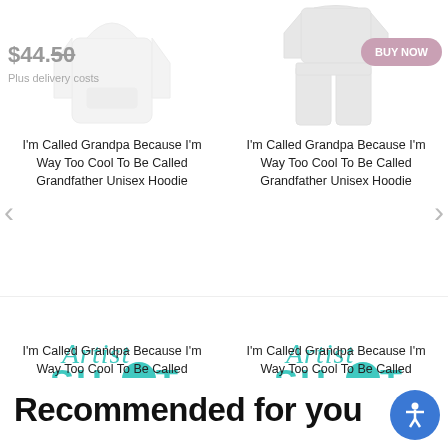$44.50
Plus delivery costs
[Figure (photo): White unisex hoodie product image]
[Figure (photo): Gray unisex hoodie product image with Buy Now button overlay]
I'm Called Grandpa Because I'm Way Too Cool To Be Called Grandfather Unisex Hoodie
I'm Called Grandpa Because I'm Way Too Cool To Be Called Grandfather Unisex Hoodie
[Figure (logo): ArtistShot logo in teal]
[Figure (logo): ArtistShot logo in teal]
I'm Called Grandpa Because I'm Way Too Cool To Be Called Grandfather Unisex Hoodie
I'm Called Grandpa Because I'm Way Too Cool To Be Called Grandfather Unisex Hoodie
Recommended for you